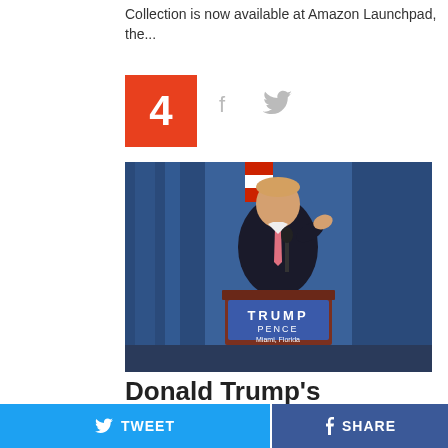Collection is now available at Amazon Launchpad, the...
[Figure (photo): Donald Trump speaking at a podium with a Trump Pence sign reading 'Miami, Florida', blue curtain backdrop, American flag visible]
Donald Trump's Reddit Q&A session
TWEET | SHARE